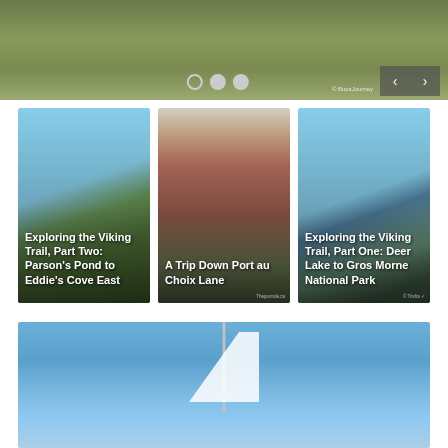[Figure (photo): Hero slider showing grassy hillside landscape with navigation dots and arrow controls]
[Figure (photo): Card 1: Coastal cliff scene. Text overlay: 'Exploring the Viking Trail, Part Two: Parson's Pond to Eddie's Cove East']
[Figure (photo): Card 2: Red building with lobster traps. Text overlay: 'A Trip Down Port au Choix Lane']
[Figure (photo): Card 3: Lake with red Adirondack chairs. Text overlay: 'Exploring the Viking Trail, Part One: Deer Lake to Gros Morne National Park']
[Figure (photo): Bottom image: Blue sky with sailboat mast and sail visible]